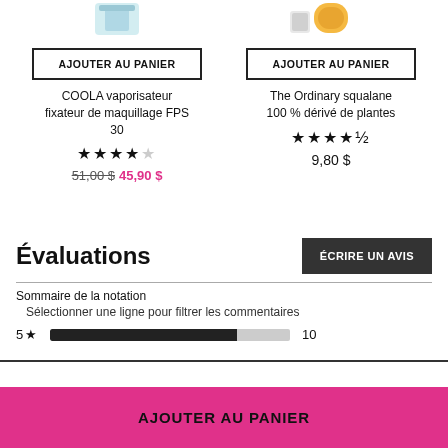[Figure (illustration): Product image for COOLA vaporisateur (partially visible at top)]
[Figure (illustration): Product image for The Ordinary squalane (partially visible at top)]
AJOUTER AU PANIER
AJOUTER AU PANIER
COOLA vaporisateur fixateur de maquillage FPS 30
The Ordinary squalane 100 % dérivé de plantes
★★★★☆
★★★★½
51,00 $ 45,90 $
9,80 $
Évaluations
ÉCRIRE UN AVIS
Sommaire de la notation
Sélectionner une ligne pour filtrer les commentaires
5 ★  10
AJOUTER AU PANIER